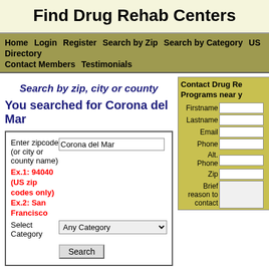Find Drug Rehab Centers
Home  Login  Register  Search by Zip  Search by Category  US Directory  Contact Members  Testimonials
Search by zip, city or county
You searched for Corona del Mar
Enter zipcode (or city or county name)
Ex.1: 94040 (US zip codes only)
Ex.2: San Francisco
Select Category
Contact Drug Rehab Programs near you